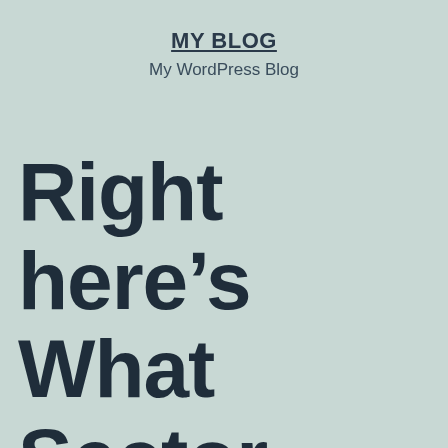MY BLOG
My WordPress Blog
Right here’s What Sector Insiders State Concerning